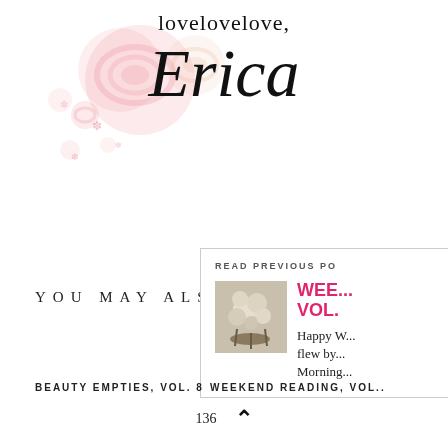[Figure (illustration): Pink floral/rose decorative watercolor-style illustration in upper left area]
lovelovelove, Erica
YOU MAY ALSO ENJOY
[Figure (screenshot): Popup panel partially visible on right side reading 'READ PREVIOUS PO...' with thumbnail image and pink title 'WEE... VOL.' and text 'Happy W... flew by... Mornin...']
BEAUTY EMPTIES, VOL. 8
WEEKEND READING, VOL..
136